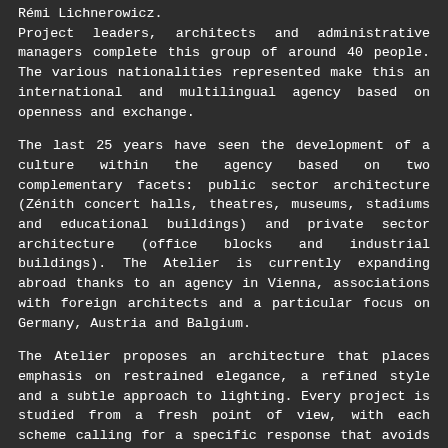Rémi Lichnerowicz. Project leaders, architects and administrative managers complete this group of around 40 people. The various nationalities represented make this an international and multilingual agency based on openness and exchange.
The last 25 years have seen the development of a culture within the agency based on two complementary facets: public sector architecture (Zénith concert halls, theatres, museums, stadiums and educational buildings) and private sector architecture (office blocks and industrial buildings). The Atelier is currently expanding abroad thanks to an agency in Vienna, associations with foreign architects and a particular focus on Germany, Austria and Balgium.
The Atelier proposes an architecture that places emphasis on restrained elegance, a refined style and a subtle approach to lighting. Every project is studied from a fresh point of view, with each scheme calling for a specific response that avoids any preconceived architectural or aesthetic ideas. It is this spirit that has allowed the Atelier to meet the challenge of all types of programmes and continue the architectural adventure in a manner that constantly stresses the importance of innovation.
[ + ] detail